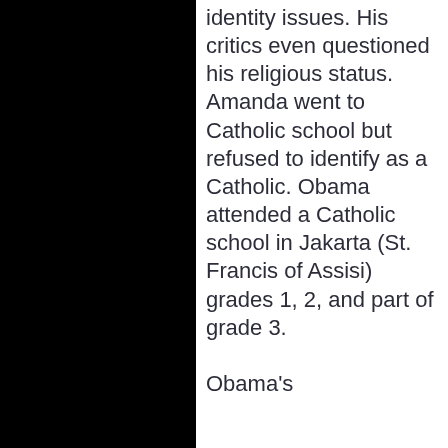identity issues. His critics even questioned his religious status. Amanda went to Catholic school but refused to identify as a Catholic. Obama attended a Catholic school in Jakarta (St. Francis of Assisi) grades 1, 2, and part of grade 3.

Obama's